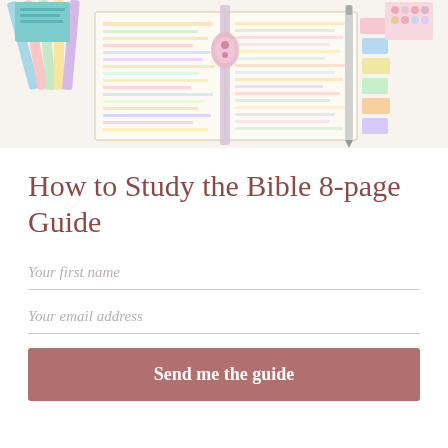[Figure (photo): Photo of an open Bible/study journal with colorful highlighted text, pens and markers on the left side, sticky tab dividers on the right side, set against a white background.]
How to Study the Bible 8-page Guide
Your first name
Your email address
Send me the guide